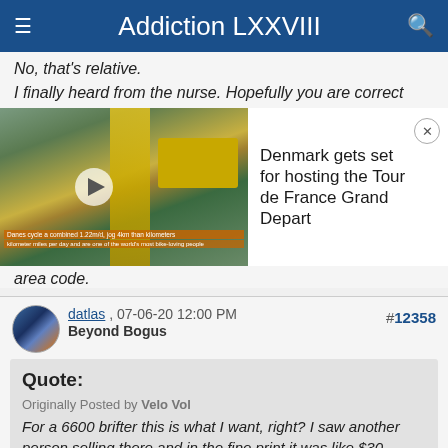Addiction LXXVIII
No, that's relative.
I finally heard from the nurse. Hopefully you are correct
[Figure (screenshot): Video thumbnail showing cycling/Tour de France scene with play button overlay and orange caption bars]
Denmark gets set for hosting the Tour de France Grand Depart
area code.
datlas , 07-06-20 12:00 PM
Beyond Bogus
#12358
Quote:
Originally Posted by Velo Vol
For a 6600 brifter this is what I want, right? I saw another person selling there and in the fine print it was like $30 shipping.